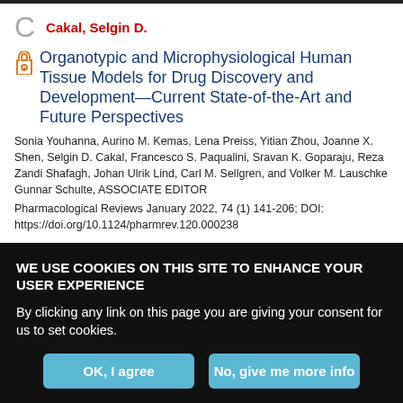C  Cakal, Selgin D.
Organotypic and Microphysiological Human Tissue Models for Drug Discovery and Development—Current State-of-the-Art and Future Perspectives
Sonia Youhanna, Aurino M. Kemas, Lena Preiss, Yitian Zhou, Joanne X. Shen, Selgin D. Cakal, Francesco S. Paqualini, Sravan K. Goparaju, Reza Zandi Shafagh, Johan Ulrik Lind, Carl M. Sellgren, and Volker M. Lauschke
Gunnar Schulte, ASSOCIATE EDITOR
Pharmacological Reviews January 2022, 74 (1) 141-206; DOI: https://doi.org/10.1124/pharmrev.120.000238
WE USE COOKIES ON THIS SITE TO ENHANCE YOUR USER EXPERIENCE
By clicking any link on this page you are giving your consent for us to set cookies.
OK, I agree
No, give me more info